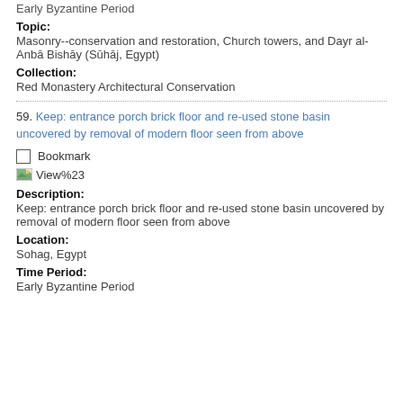Early Byzantine Period
Topic:
Masonry--conservation and restoration, Church towers, and Dayr al-Anbā Bishāy (Sūhāj, Egypt)
Collection:
Red Monastery Architectural Conservation
59. Keep: entrance porch brick floor and re-used stone basin uncovered by removal of modern floor seen from above
Bookmark
[Figure (other): View%23 icon/image link]
Description:
Keep: entrance porch brick floor and re-used stone basin uncovered by removal of modern floor seen from above
Location:
Sohag, Egypt
Time Period:
Early Byzantine Period